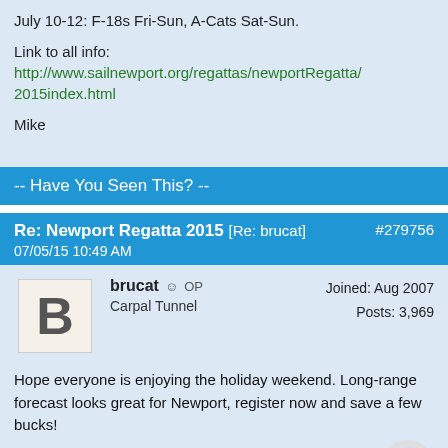July 10-12: F-18s Fri-Sun, A-Cats Sat-Sun.
Link to all info: http://www.sailnewport.org/regattas/newportRegatta/2015index.html
Mike
-- Have You Seen This? --
Re: Newport Regatta 2015 [Re: brucat]  #279756  07/05/15 10:49 AM
brucat OP  Carpal Tunnel  Joined: Aug 2007  Posts: 3,969
Hope everyone is enjoying the holiday weekend. Long-range forecast looks great for Newport, register now and save a few bucks!
Looks like the F-18s may be racing with 12-metres on Friday, where else will you ever get to do that???